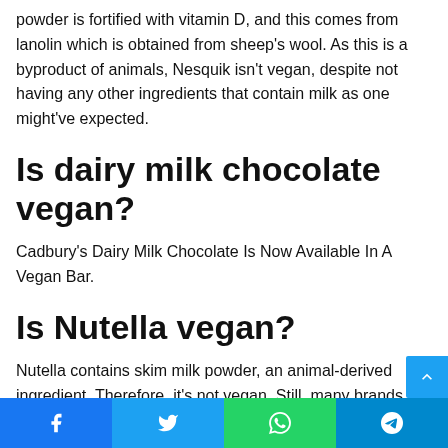powder is fortified with vitamin D, and this comes from lanolin which is obtained from sheep's wool. As this is a byproduct of animals, Nesquik isn't vegan, despite not having any other ingredients that contain milk as one might've expected.
Is dairy milk chocolate vegan?
Cadbury's Dairy Milk Chocolate Is Now Available In A Vegan Bar.
Is Nutella vegan?
Nutella contains skim milk powder, an animal-derived ingredient. Therefore, it's not vegan. Still, many brands offe
Facebook Twitter WhatsApp Telegram